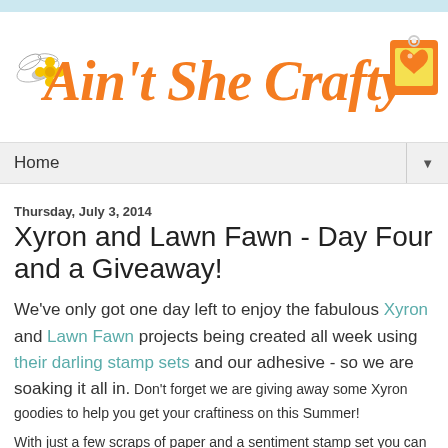Ain't She Crafty
Home
Thursday, July 3, 2014
Xyron and Lawn Fawn - Day Four and a Giveaway!
We've only got one day left to enjoy the fabulous Xyron and Lawn Fawn projects being created all week using their darling stamp sets and our adhesive - so we are soaking it all in. Don't forget we are giving away some Xyron goodies to help you get your craftiness on this Summer!
With just a few scraps of paper and a sentiment stamp set you can create some fun postcards that would be perfect for kids going off to camp or for your family road trip! On her blog today Arin Flynn shares some tips and